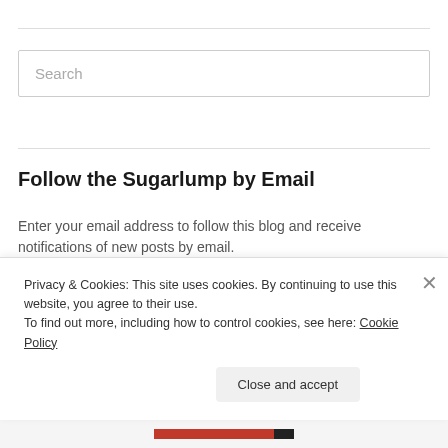Search
Follow the Sugarlump by Email
Enter your email address to follow this blog and receive notifications of new posts by email.
Enter your email address
Privacy & Cookies: This site uses cookies. By continuing to use this website, you agree to their use.
To find out more, including how to control cookies, see here: Cookie Policy
Close and accept